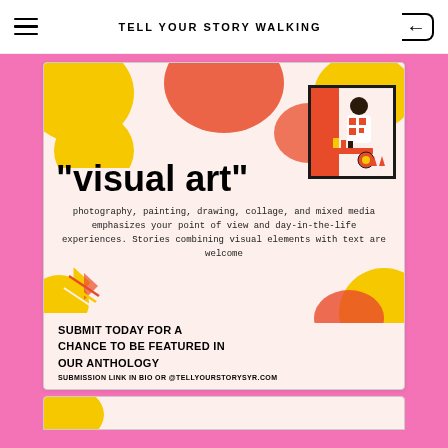TELL YOUR STORY WALKING
[Figure (illustration): A promotional card for 'Tell Your Story Walking' featuring the category 'visual art' with decorative blobs in yellow, orange/red, and pink. Includes an illustration of a person and decorative arrow shapes. Text describes photography, painting, drawing, collage, and mixed media. Submission call-to-action for an anthology.]
"visual art"
photography, painting, drawing, collage, and mixed media emphasizes your point of view and day-in-the-life experiences. Stories combining visual elements with text are welcome
SUBMIT TODAY FOR A CHANCE TO BE FEATURED IN OUR ANTHOLOGY
SUBMISSION LINK IN BIO OR @TELLYOURSTORYSYR.COM